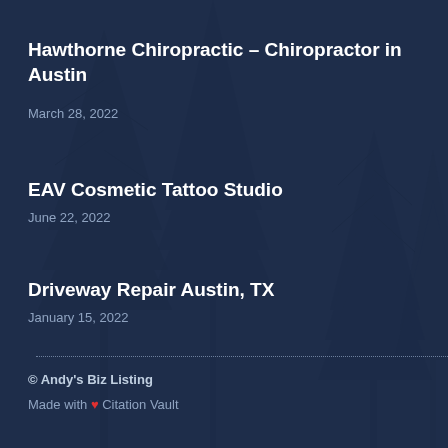Hawthorne Chiropractic – Chiropractor in Austin
March 28, 2022
EAV Cosmetic Tattoo Studio
June 22, 2022
Driveway Repair Austin, TX
January 15, 2022
© Andy's Biz Listing
Made with ❤ Citation Vault